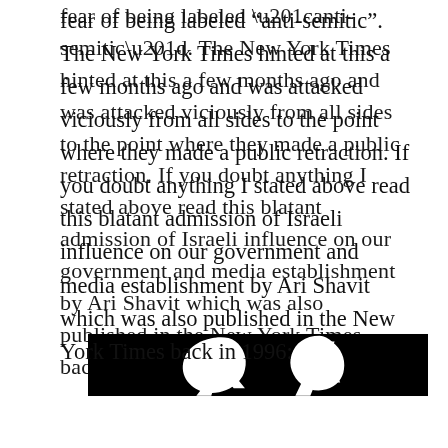fear of being labeled “anti-semitic”. The New York Times hinted at this a few months ago and was attacked viciously from all sides to the point where they made a public retraction. If you doubt anything I stated above read this blatant admission of Israeli influence on our government and media establishment by Ari Shavit which was also published in the New York Times back in 1996:
[Figure (logo): Black and white image showing a stylized white letter or symbol on a black background, appearing to be a logo or typographic mark]